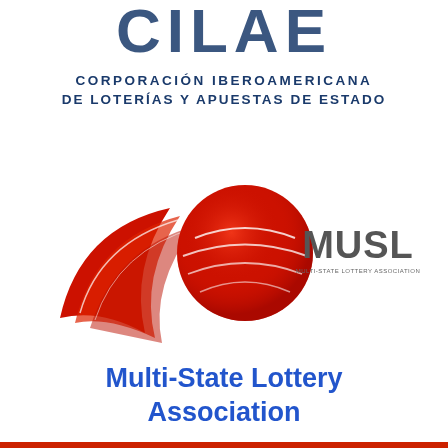[Figure (logo): CILAE - Corporacion Iberoamericana de Loterias y Apuestas de Estado logo with large blue stylized text and subtitle]
[Figure (logo): MUSL Multi-State Lottery Association logo with red swoosh/ball graphic and MUSL text]
Multi-State Lottery Association